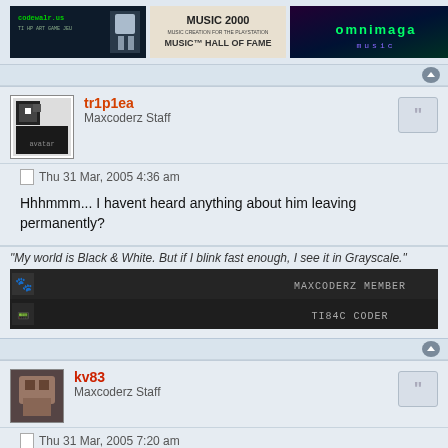[Figure (screenshot): Banner images row: codewalr.us pixel art banner, Music 2000 Hall of Fame banner, and a colorful music banner]
tr1p1ea
Maxcoderz Staff
Thu 31 Mar, 2005 4:36 am
Hhhmmm... I havent heard anything about him leaving permanently?
"My world is Black & White. But if I blink fast enough, I see it in Grayscale."
[Figure (screenshot): Dark signature banner showing MAXCODERZ MEMBER and TI84C CODER labels with icons]
kv83
Maxcoderz Staff
Thu 31 Mar, 2005 7:20 am
He could have (accidently) unsubscribed himself